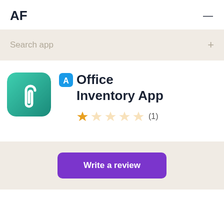AF
Search app
[Figure (illustration): Office Inventory App icon: green rounded square with a white paperclip on it]
Office Inventory App
★☆☆☆☆ (1)
Write a review